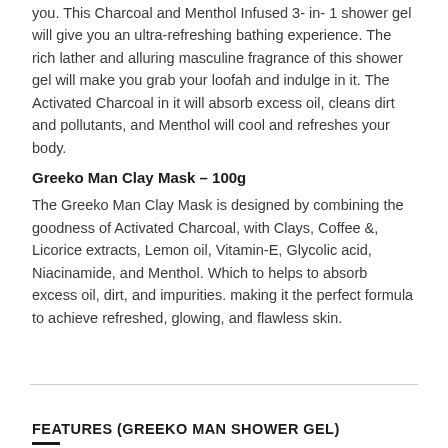you. This Charcoal and Menthol Infused 3- in- 1 shower gel will give you an ultra-refreshing bathing experience. The rich lather and alluring masculine fragrance of this shower gel will make you grab your loofah and indulge in it. The Activated Charcoal in it will absorb excess oil, cleans dirt and pollutants, and Menthol will cool and refreshes your body.
Greeko Man Clay Mask - 100g
The Greeko Man Clay Mask is designed by combining the goodness of Activated Charcoal, with Clays, Coffee &, Licorice extracts, Lemon oil, Vitamin-E, Glycolic acid, Niacinamide, and Menthol. Which to helps to absorb excess oil, dirt, and impurities. making it the perfect formula to achieve refreshed, glowing, and flawless skin.
FEATURES (GREEKO MAN SHOWER GEL)